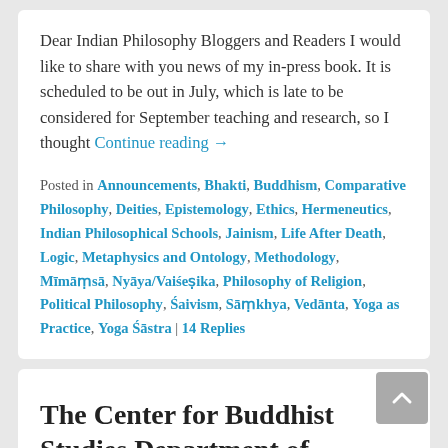Dear Indian Philosophy Bloggers and Readers I would like to share with you news of my in-press book. It is scheduled to be out in July, which is late to be considered for September teaching and research, so I thought Continue reading →
Posted in Announcements, Bhakti, Buddhism, Comparative Philosophy, Deities, Epistemology, Ethics, Hermeneutics, Indian Philosophical Schools, Jainism, Life After Death, Logic, Metaphysics and Ontology, Methodology, Mīmāṃsā, Nyāya/Vaiśeṣika, Philosophy of Religion, Political Philosophy, Śaivism, Sāṃkhya, Vedānta, Yoga as Practice, Yoga Śāstra | 14 Replies
The Center for Buddhist Studies Department of Philosophy, University of Mumbai Organizes an International Conference on...